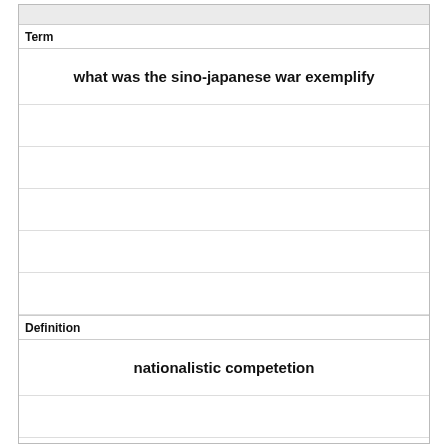Term
what was the sino-japanese war exemplify
Definition
nationalistic competetion